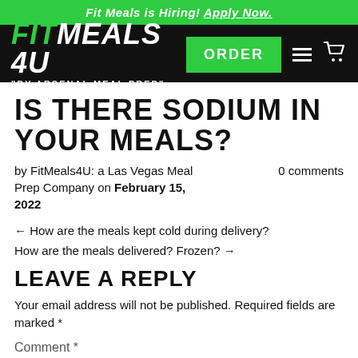Fit Meals is Hiring! Apply Now.
[Figure (logo): FitMeals 4U logo with ORDER button and navigation icons on black navbar]
IS THERE SODIUM IN YOUR MEALS?
by FitMeals4U: a Las Vegas Meal Prep Company on February 15, 2022
0 comments
← How are the meals kept cold during delivery?
How are the meals delivered? Frozen? →
LEAVE A REPLY
Your email address will not be published. Required fields are marked *
Comment *